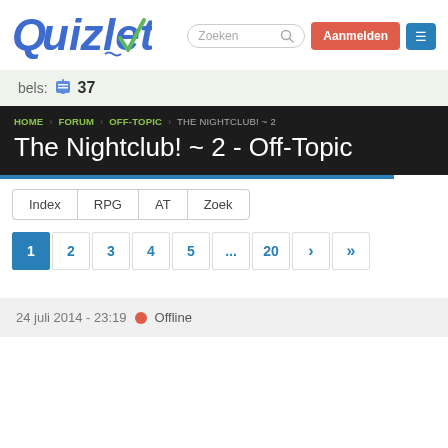[Figure (logo): Quizlet logo with stylized Q and checkmark]
Zoeken
Aanmelden
bels: 37
HOME > FORUM > OFF-TOPIC > THE NIGHTCLUB! ~ 2
The Nightclub! ~ 2 - Off-Topic
Index  RPG  AT  Zoek
1  2  3  4  5  ...  20  >  >>
24 juli 2014 - 23:19  Offline